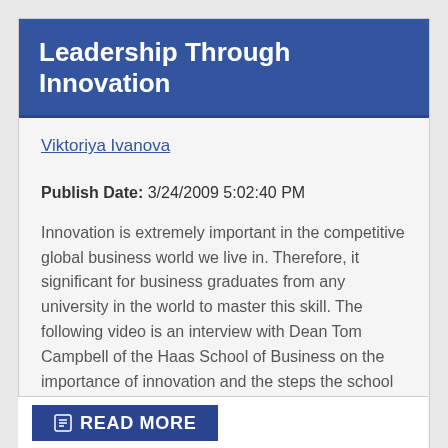Leadership Through Innovation
Viktoriya Ivanova
Publish Date: 3/24/2009 5:02:40 PM
Innovation is extremely important in the competitive global business world we live in. Therefore, it significant for business graduates from any university in the world to master this skill. The following video is an interview with Dean Tom Campbell of the Haas School of Business on the importance of innovation and the steps the school has taken to ensure that its graduates obtain the skill to develop strategies for outstanding business ideas.
READ MORE